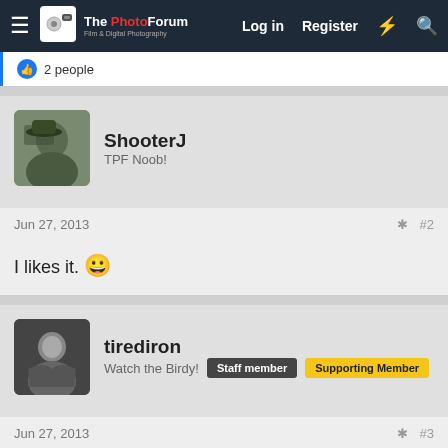The PhotoForum — Log in | Register
2 people
ShooterJ
TPF Noob!
Jun 27, 2013
#2
I likes it. 🙂
tirediron
Watch the Birdy! | Staff member | Supporting Member
Jun 27, 2013
#3
I think I'd like to see more in focus!